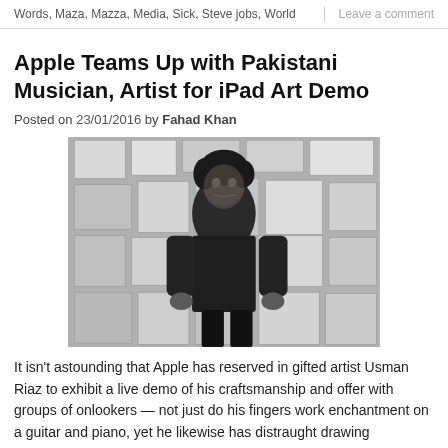Words, Maza, Mazza, Media, Sick, Steve jobs, World   |   Leave a comment
Apple Teams Up with Pakistani Musician, Artist for iPad Art Demo
Posted on 23/01/2016 by Fahad Khan
[Figure (photo): Black and white photo of a young man standing in front of a wall covered with artwork and illustrations]
It isn't astounding that Apple has reserved in gifted artist Usman Riaz to exhibit a live demo of his craftsmanship and offer with groups of onlookers — not just do his fingers work enchantment on a guitar and piano, yet he likewise has distraught drawing aptitudes.
Share  0  Tweet  0  Share  0  Email  0  Share  New  Like 0  Pin  0